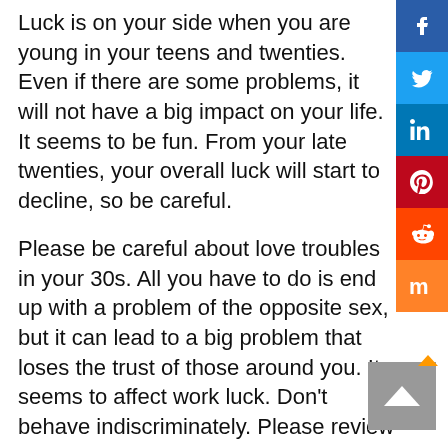Luck is on your side when you are young in your teens and twenties. Even if there are some problems, it will not have a big impact on your life. It seems to be fun. From your late twenties, your overall luck will start to decline, so be careful.
Please be careful about love troubles in your 30s. All you have to do is end up with a problem of the opposite sex, but it can lead to a big problem that loses the trust of those around you. It seems to affect work luck. Don't behave indiscriminately. Please review your daily outlook and remember to be considerate of your surroundings.
[Figure (infographic): Social media share buttons sidebar on the right: Facebook (dark blue, f icon), Twitter (light blue, bird icon), LinkedIn (blue, 'in' icon), Pinterest (red, P icon), Reddit (orange-red, alien icon), Mix (orange, m icon)]
[Figure (other): Scroll-to-top button in grey with an upward caret arrow, with a small orange play arrow above it]